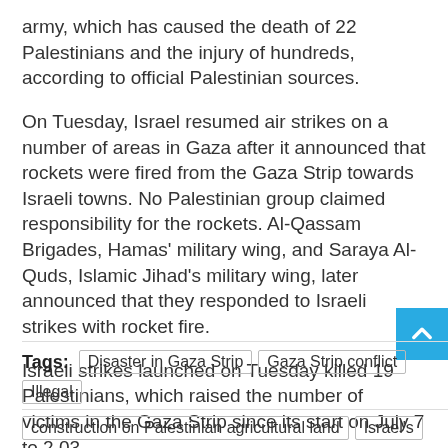army, which has caused the death of 22 Palestinians and the injury of hundreds, according to official Palestinian sources.
On Tuesday, Israel resumed air strikes on a number of areas in Gaza after it announced that rockets were fired from the Gaza Strip towards Israeli towns. No Palestinian group claimed responsibility for the rockets. Al-Qassam Brigades, Hamas' military wing, and Saraya Al-Quds, Islamic Jihad's military wing, later announced that they responded to Israeli strikes with rocket fire.
Israeli strikes launched on Tuesday killed 19 Palestinians, which raised the number of victims in the Gaza Strip since its start on July 7 to 2,03
Tags: Disaster in Gaza Strip | Gaza Strip conflict | Illegal
construction on Palestinian agricultural land | Israel's